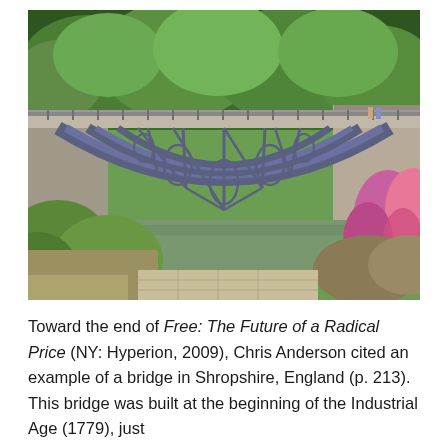[Figure (photo): Photograph of the Iron Bridge in Coalbrookdale, Shropshire, England. The cast iron arch bridge spans a green river, surrounded by lush trees and flowering plants. The ornate lattice ironwork of the arch is clearly visible. Shot on a sunny day.]
Toward the end of Free: The Future of a Radical Price (NY: Hyperion, 2009), Chris Anderson cited an example of a bridge in Shropshire, England (p. 213). This bridge was built at the beginning of the Industrial Age (1779), just